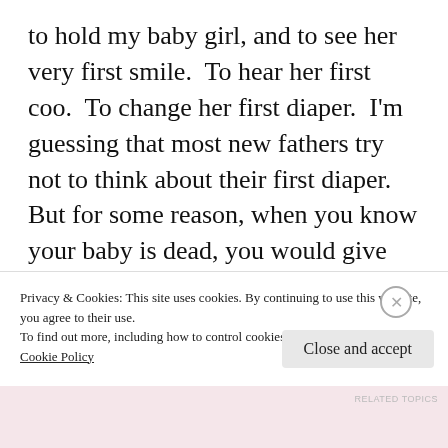to hold my baby girl, and to see her very first smile.  To hear her first coo.  To change her first diaper.  I'm guessing that most new fathers try not to think about their first diaper.  But for some reason, when you know your baby is dead, you would give anything for the opportunity to change that first stinky mess.  Even the burden of knowing she had Down Syndrome seemed like such a minor
Privacy & Cookies: This site uses cookies. By continuing to use this website, you agree to their use.
To find out more, including how to control cookies, see here:
Cookie Policy
Close and accept